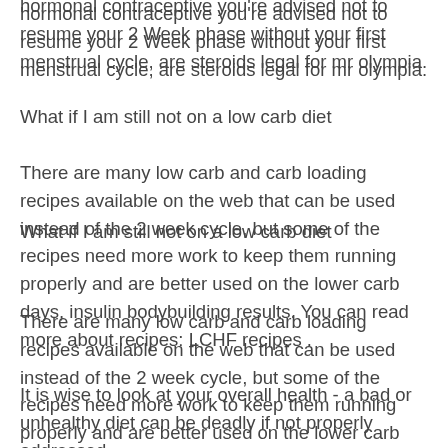hormonal contraceptive you're advised not to resume your 2 Week phase without your first menstrual cycle, are steroids legal for mr olympia.
What if I am still not on a low carb diet
There are many low carb and carb loading recipes available on the web that can be used instead of the 2 week cycle, but some of the recipes need more work to keep them running properly and are better used on the lower carb days, insulin bodybuilding results. You can read more about recipes: LCHF recipes .
It is wise to look at your overall health - a bad or unhealthy diet can be deadly if not properly addressed.
In the 1930s, it was discovered that anabolic